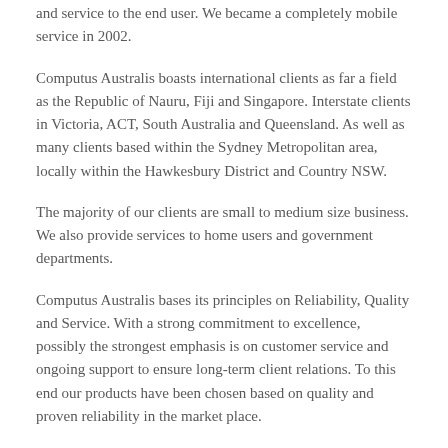and service to the end user.  We became a completely mobile service in 2002.
Computus Australis boasts international clients as far a field as the Republic of Nauru, Fiji and Singapore. Interstate clients in Victoria, ACT, South Australia and Queensland. As well as many clients based within the Sydney Metropolitan area, locally within the Hawkesbury District and Country NSW.
The majority of our clients are small to medium size business.  We also provide services to home users and government departments.
Computus Australis bases its principles on Reliability, Quality and Service. With a strong commitment to excellence, possibly the strongest emphasis is on customer service and ongoing support to ensure long-term client relations. To this end our products have been chosen based on quality and proven reliability in the market place.